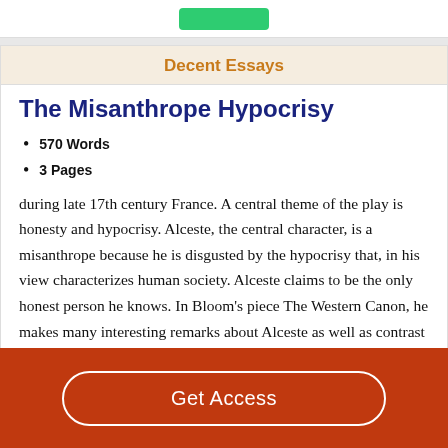Decent Essays
The Misanthrope Hypocrisy
570 Words
3 Pages
during late 17th century France. A central theme of the play is honesty and hypocrisy. Alceste, the central character, is a misanthrope because he is disgusted by the hypocrisy that, in his view characterizes human society. Alceste claims to be the only honest person he knows. In Bloom's piece The Western Canon, he makes many interesting remarks about Alceste as well as contrast him with a major character in Shakespeare's
Get Access